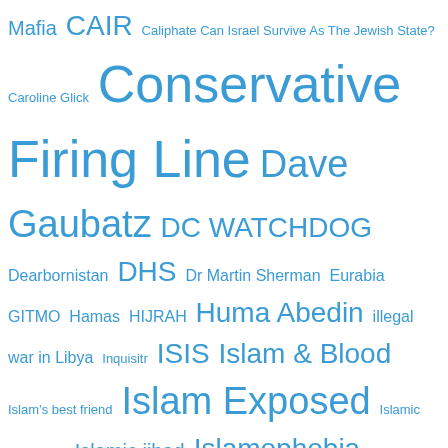[Figure (other): Tag cloud with various political and Islamic-related terms in different font sizes, all in blue color. Terms include: Mafia, CAIR, Caliphate Can Israel Survive As The Jewish State?, Caroline Glick, Conservative Firing Line, Dave Gaubatz, DC WATCHDOG, Dearbornistan, DHS, Dr Martin Sherman, Eurabia, GITMO, Hamas, HIJRAH, Huma Abedin, illegal war in Libya, Inquisitr, ISIS, Islam & Blood, Islam's best friend, Islam Exposed, Islamic barbarism, Islamic jihad, Islamophobia, Israel's Voice, Joe For America, Malik Obama, MINNESOTASTAN, MUslim Brotherhood, Muslim Brotherhood Mafia, Northeast Intelligence Network, Obama Inc, pagan moon-god Allah, PM Netanyahu, Professor Louis Rene Beres, Professor Paul Eidelberg, Prof Paul Eidelberg, rape-jihad, REd/Green alliance, regime gone wild, Rules For Radicals, Shariah Law, Sharia Law, stealth jihad, The]